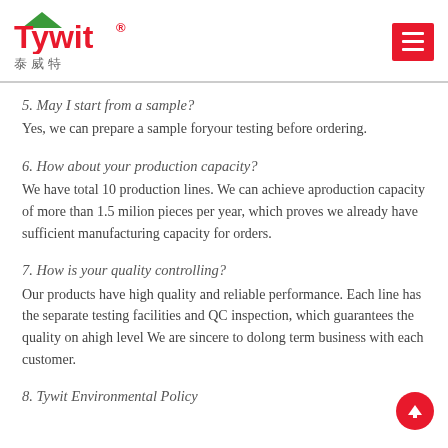Tywit 泰威特
5. May I start from a sample?
Yes, we can prepare a sample foryour testing before ordering.
6. How about your production capacity?
We have total 10 production lines. We can achieve aproduction capacity of more than 1.5 milion pieces per year, which proves we already have sufficient manufacturing capacity for orders.
7. How is your quality controlling?
Our products have high quality and reliable performance. Each line has the separate testing facilities and QC inspection, which guarantees the quality on ahigh level We are sincere to dolong term business with each customer.
8. Tywit Environmental Policy